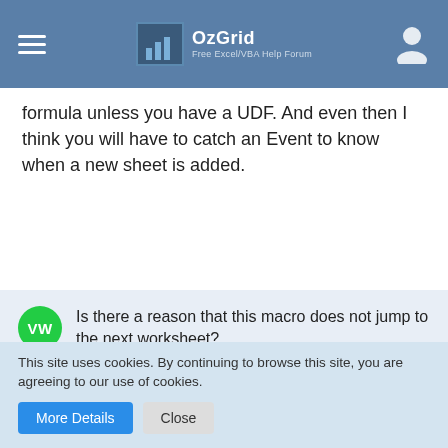OzGrid - Free Excel/VBA Help Forum
formula unless you have a UDF. And even then I think you will have to catch an Event to know when a new sheet is added.
Is there a reason that this macro does not jump to the next worksheet?
vwankerl · Aug 1st 2012
Re: Is there a reason that this macro does not jump to the next worksheet?
Try something:
This site uses cookies. By continuing to browse this site, you are agreeing to our use of cookies.